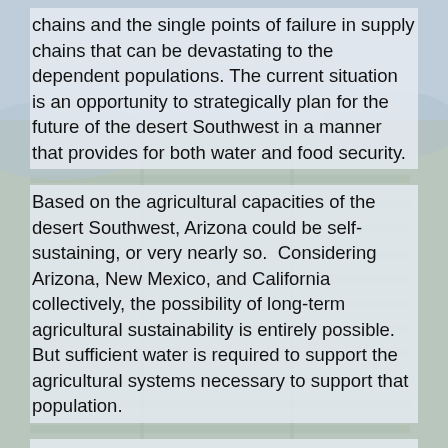chains and the single points of failure in supply chains that can be devastating to the dependent populations. The current situation is an opportunity to strategically plan for the future of the desert Southwest in a manner that provides for both water and food security.
Based on the agricultural capacities of the desert Southwest, Arizona could be self-sustaining, or very nearly so.  Considering Arizona, New Mexico, and California collectively, the possibility of long-term agricultural sustainability is entirely possible.  But sufficient water is required to support the agricultural systems necessary to support that population.
I am confident that we can work through these challenges in a balanced and effective manner but “business as usual” will not be sufficient in addressing the demands of today.  This is a complex situation environmentally, geographically, politically, economically, and socially.